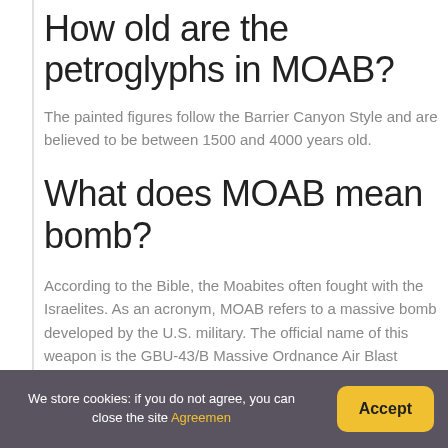How old are the petroglyphs in MOAB?
The painted figures follow the Barrier Canyon Style and are believed to be between 1500 and 4000 years old.
What does MOAB mean bomb?
According to the Bible, the Moabites often fought with the Israelites. As an acronym, MOAB refers to a massive bomb developed by the U.S. military. The official name of this weapon is the GBU-43/B Massive Ordnance Air Blast (MOAB).
We store cookies: if you do not agree, you can close the site Agreemen  Accept